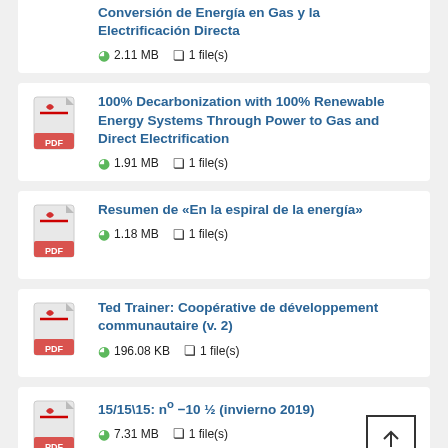Conversión de Energía en Gas y la Electrificación Directa — 2.11 MB, 1 file(s)
100% Decarbonization with 100% Renewable Energy Systems Through Power to Gas and Direct Electrification — 1.91 MB, 1 file(s)
Resumen de «En la espiral de la energía» — 1.18 MB, 1 file(s)
Ted Trainer: Coopérative de développement communautaire (v. 2) — 196.08 KB, 1 file(s)
15/15\15: nº −10 ½ (invierno 2019) — 7.31 MB, 1 file(s)